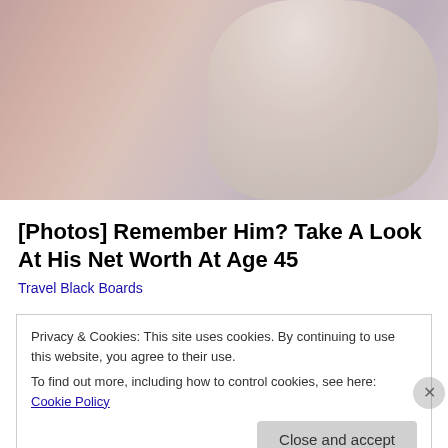[Figure (photo): A couple close together, woman with blonde hair on the left, man in white suit on the right, faded warm-toned photo]
[Photos] Remember Him? Take A Look At His Net Worth At Age 45
Travel Black Boards
Privacy & Cookies: This site uses cookies. By continuing to use this website, you agree to their use.
To find out more, including how to control cookies, see here: Cookie Policy
Close and accept